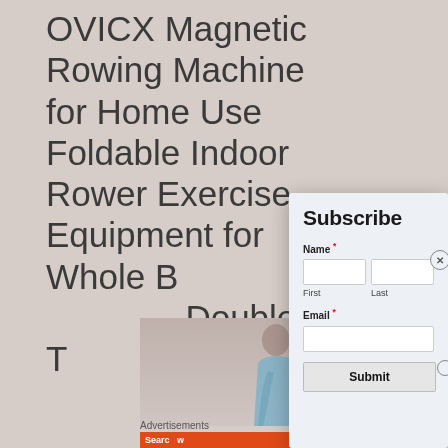OVICX Magnetic Rowing Machine for Home Use Foldable Indoor Rower Exercise Equipment for Whole Body Workout Double Track
[Figure (photo): Partial view of a person (woman) in exercise attire, background page content partially visible]
Advertisements
Search w...
Subscribe
Name *
First
Last
Email *
Submit